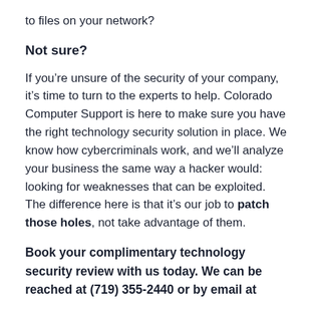to files on your network?
Not sure?
If you’re unsure of the security of your company, it’s time to turn to the experts to help. Colorado Computer Support is here to make sure you have the right technology security solution in place. We know how cybercriminals work, and we’ll analyze your business the same way a hacker would: looking for weaknesses that can be exploited. The difference here is that it’s our job to patch those holes, not take advantage of them.
Book your complimentary technology security review with us today. We can be reached at (719) 355-2440 or by email at